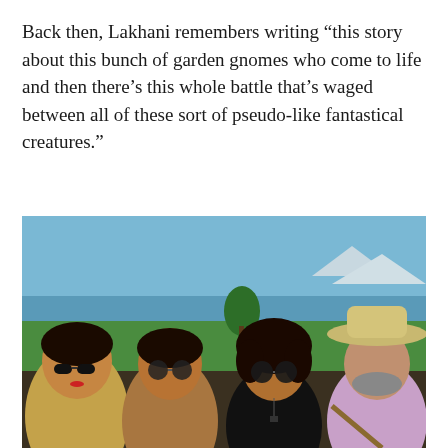Back then, Lakhani remembers writing “this story about this bunch of garden gnomes who come to life and then there’s this whole battle that’s waged between all of these sort of pseudo-like fantastical creatures.”
[Figure (photo): A photo of four people (a woman in a gold top with sunglasses, a young woman in a sparkly top with sunglasses, a young woman in a black top with sunglasses, and an older man in a wide-brimmed hat and lavender shirt) posing together outdoors with a green landscape, water, and mountains in the background.]